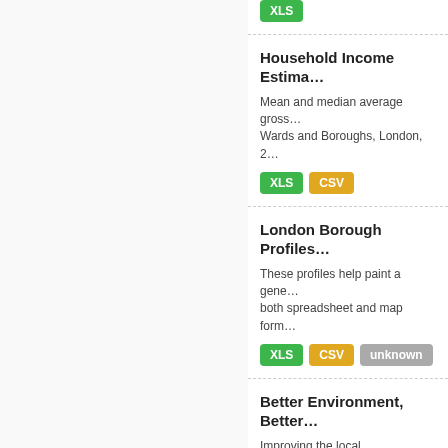[Figure (other): XLS green tag at top of right panel]
Household Income Estima…
Mean and median average gross… Wards and Boroughs, London, 2…
[Figure (other): XLS and CSV tags]
London Borough Profiles…
These profiles help paint a gene… both spreadsheet and map form…
[Figure (other): XLS, CSV, unknown tags]
Better Environment, Better…
Improving the local environment… bespoke guide for each London…
[Figure (other): XLS green tag]